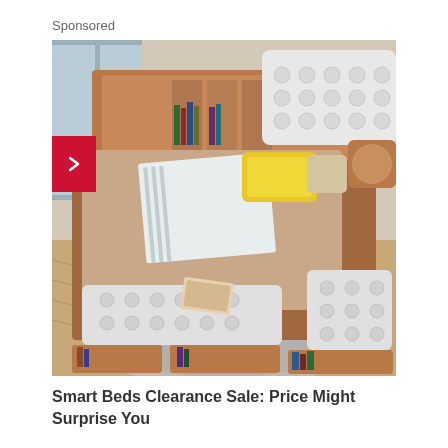Sponsored
[Figure (photo): A modern multi-functional smart bed with white tufted upholstery, wood-tone storage panels, built-in bookshelves at the headboard, pull-out storage drawers, side ottoman seating, and a yellow decorative pillow on a striped bed runner. The bed is displayed in a stylish bedroom with hardwood floors and a gray area rug.]
Smart Beds Clearance Sale: Price Might Surprise You